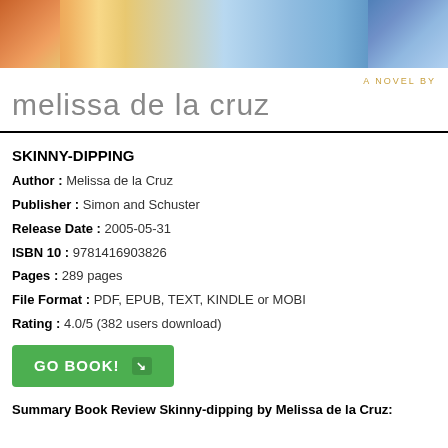[Figure (illustration): Book cover image for 'Skinny-dipping' by Melissa de la Cruz, showing colorful artwork at the top with text 'A NOVEL BY melissa de la cruz']
SKINNY-DIPPING
Author : Melissa de la Cruz
Publisher : Simon and Schuster
Release Date : 2005-05-31
ISBN 10 : 9781416903826
Pages : 289 pages
File Format : PDF, EPUB, TEXT, KINDLE or MOBI
Rating : 4.0/5 (382 users download)
GO BOOK!
Summary Book Review Skinny-dipping by Melissa de la Cruz: